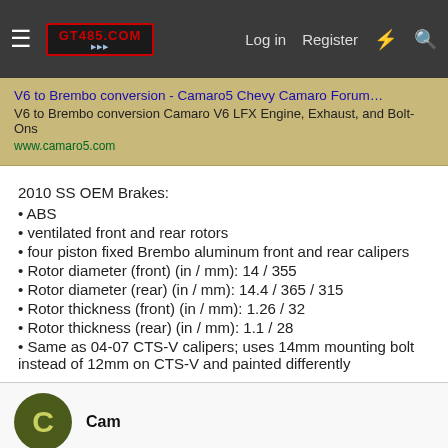GT405.COM — Log in  Register
[Figure (screenshot): Link preview card with tan/gold background showing: Title: 'V6 to Brembo conversion - Camaro5 Chevy Camaro Forum…', Description: 'V6 to Brembo conversion Camaro V6 LFX Engine, Exhaust, and Bolt-Ons', URL: www.camaro5.com]
2010 SS OEM Brakes:
• ABS
• ventilated front and rear rotors
• four piston fixed Brembo aluminum front and rear calipers
• Rotor diameter (front) (in / mm): 14 / 355
• Rotor diameter (rear) (in / mm): 14.4 / 365 / 315
• Rotor thickness (front) (in / mm): 1.26 / 32
• Rotor thickness (rear) (in / mm): 1.1 / 28
• Same as 04-07 CTS-V calipers; uses 14mm mounting bolt instead of 12mm on CTS-V and painted differently
Cam